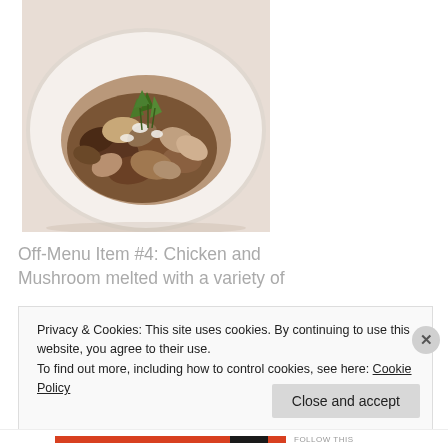[Figure (photo): A white bowl filled with sautéed chicken and mushroom dish, garnished with fresh herbs (basil/rosemary), served with a rich brown sauce on a white plate.]
Off-Menu Item #4: Chicken and Mushroom melted with a variety of
Privacy & Cookies: This site uses cookies. By continuing to use this website, you agree to their use.
To find out more, including how to control cookies, see here: Cookie Policy
Close and accept